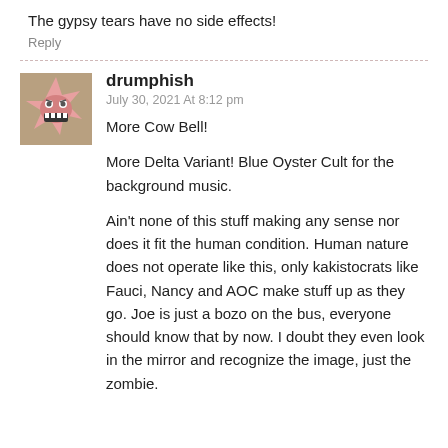The gypsy tears have no side effects!
Reply
drumphish
July 30, 2021 At 8:12 pm
More Cow Bell!
More Delta Variant! Blue Oyster Cult for the background music.
Ain't none of this stuff making any sense nor does it fit the human condition. Human nature does not operate like this, only kakistocrats like Fauci, Nancy and AOC make stuff up as they go. Joe is just a bozo on the bus, everyone should know that by now. I doubt they even look in the mirror and recognize the image, just the zombie.